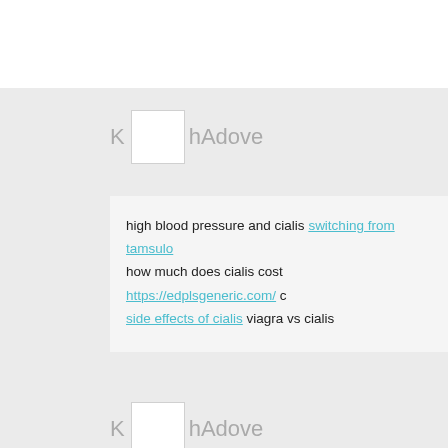K hAdove
high blood pressure and cialis switching from tamsulo how much does cialis cost https://edplsgeneric.com/ side effects of cialis viagra vs cialis
K hAdove